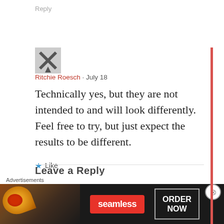Reply
[Figure (photo): User avatar photo showing an X-shaped graphic]
Ritchie Roesch · July 18
Technically yes, but they are not intended to and will look differently. Feel free to try, but just expect the results to be different.
★ Like
Reply
Advertisements
[Figure (infographic): Seamless food delivery advertisement banner with pizza image, Seamless logo, and ORDER NOW button]